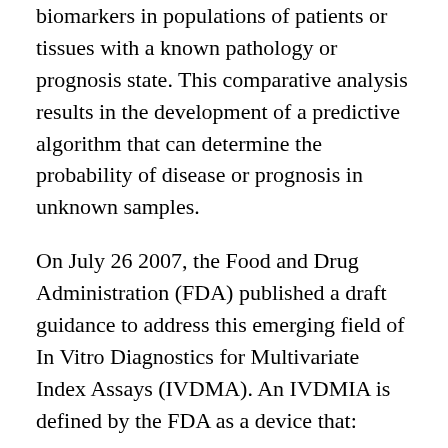biomarkers in populations of patients or tissues with a known pathology or prognosis state. This comparative analysis results in the development of a predictive algorithm that can determine the probability of disease or prognosis in unknown samples.
On July 26 2007, the Food and Drug Administration (FDA) published a draft guidance to address this emerging field of In Vitro Diagnostics for Multivariate Index Assays (IVDMA). An IVDMIA is defined by the FDA as a device that:
Combines the values of multiple variables using an interpretation function to yield a single, patient-specific result (e.g., a